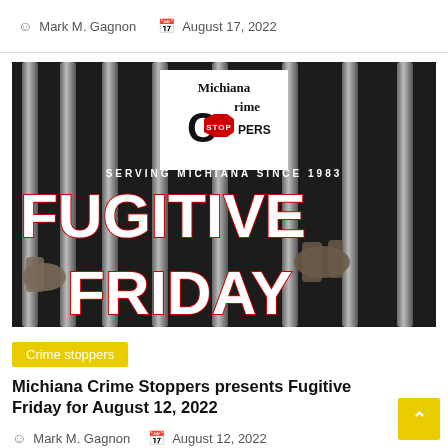Mark M. Gagnon  August 17, 2022
[Figure (photo): Michiana Crime Stoppers Fugitive Friday promotional image — black and white photo of hands gripping jail bars, with the Michiana Crime Stoppers logo (white box with C and STOP octagon badge), text 'SERVING MICHIANA SINCE 1983', and large bold red-outlined text 'FUGITIVE FRIDAY']
Crime stoppers
Michiana Crime Stoppers presents Fugitive Friday for August 12, 2022
Mark M. Gagnon  August 12, 2022